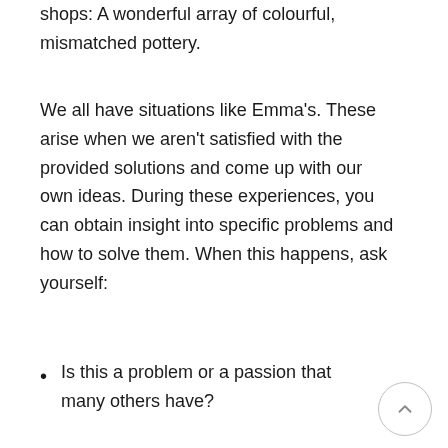shops: A wonderful array of colourful, mismatched pottery.
We all have situations like Emma's. These arise when we aren't satisfied with the provided solutions and come up with our own ideas. During these experiences, you can obtain insight into specific problems and how to solve them. When this happens, ask yourself:
Is this a problem or a passion that many others have?